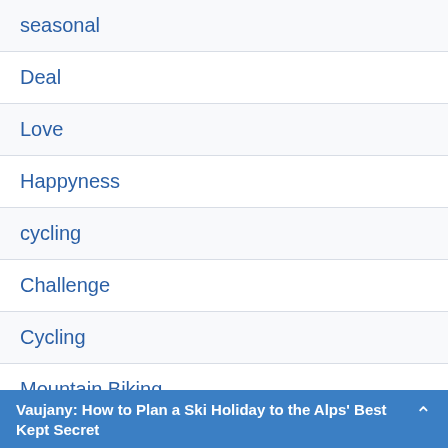| seasonal |
| Deal |
| Love |
| Happyness |
| cycling |
| Challenge |
| Cycling |
| Mountain Biking |
| Event |
| Adventure |
| Awareness |
| Cuisine |
Vaujany: How to Plan a Ski Holiday to the Alps' Best Kept Secret